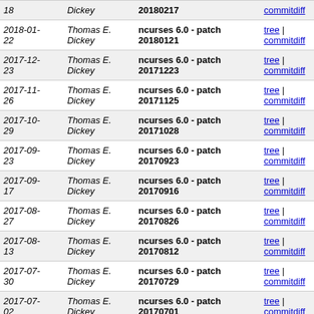| Date | Author | Commit | Links |
| --- | --- | --- | --- |
| 18 | Dickey | 20180217 | tree | commitdiff |
| 2018-01-22 | Thomas E. Dickey | ncurses 6.0 - patch 20180121 | tree | commitdiff |
| 2017-12-23 | Thomas E. Dickey | ncurses 6.0 - patch 20171223 | tree | commitdiff |
| 2017-11-26 | Thomas E. Dickey | ncurses 6.0 - patch 20171125 | tree | commitdiff |
| 2017-10-29 | Thomas E. Dickey | ncurses 6.0 - patch 20171028 | tree | commitdiff |
| 2017-09-23 | Thomas E. Dickey | ncurses 6.0 - patch 20170923 | tree | commitdiff |
| 2017-09-17 | Thomas E. Dickey | ncurses 6.0 - patch 20170916 | tree | commitdiff |
| 2017-08-27 | Thomas E. Dickey | ncurses 6.0 - patch 20170826 | tree | commitdiff |
| 2017-08-13 | Thomas E. Dickey | ncurses 6.0 - patch 20170812 | tree | commitdiff |
| 2017-07-30 | Thomas E. Dickey | ncurses 6.0 - patch 20170729 | tree | commitdiff |
| 2017-07-02 | Thomas E. Dickey | ncurses 6.0 - patch 20170701 | tree | commitdiff |
| 2017-06-25 | Thomas E. Dickey | ncurses 6.0 - patch 20170624 | tree | commitdiff |
| 2017-06-18 | Thomas E. Dickey | ncurses 6.0 - patch 20170617 | tree | commitdiff |
| 2017-04-22 | Thomas E. Dickey | ncurses 6.0 - patch 20170422 | tree | commitdiff |